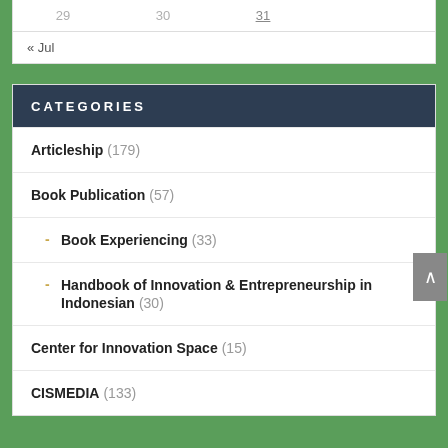| 29 | 30 | 31 |
« Jul
CATEGORIES
Articleship (179)
Book Publication (57)
Book Experiencing (33)
Handbook of Innovation & Entrepreneurship in Indonesian (30)
Center for Innovation Space (15)
CISMEDIA (133)